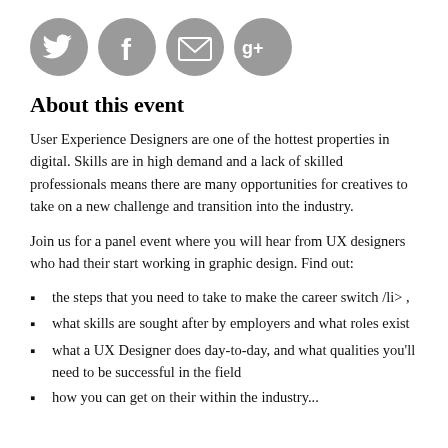[Figure (illustration): Four social media icon buttons (Twitter, Facebook, Email/envelope, Google+) rendered as grey circles with white icons inside.]
About this event
User Experience Designers are one of the hottest properties in digital. Skills are in high demand and a lack of skilled professionals means there are many opportunities for creatives to take on a new challenge and transition into the industry.
Join us for a panel event where you will hear from UX designers who had their start working in graphic design. Find out:
the steps that you need to take to make the career switch /li> ,
what skills are sought after by employers and what roles exist
what a UX Designer does day-to-day, and what qualities you'll need to be successful in the field
how you can get on their within the industry...